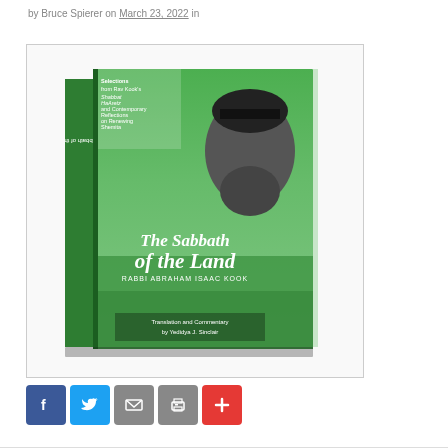by Bruce Spierer on March 23, 2022 in
[Figure (photo): Book cover of 'The Sabbath of the Land' by Rabbi Abraham Isaac Kook, showing a bearded rabbi and green landscape imagery. Translation and Commentary by Yedidya J. Sinclair.]
Share buttons: Facebook, Twitter, Email, Print, More